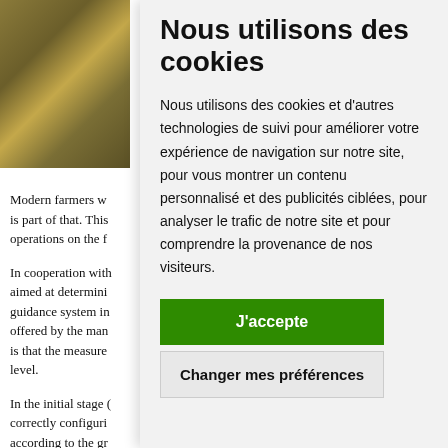[Figure (photo): Aerial or close-up photo of agricultural field with brown/golden soil texture]
Modern farmers w... is part of that. This... operations on the f...
In cooperation with... aimed at determini... guidance system in... offered by the man... is that the measure... level.
In the initial stage... correctly configuri... according to the gr... showed that the sh...
Nous utilisons des cookies
Nous utilisons des cookies et d'autres technologies de suivi pour améliorer votre expérience de navigation sur notre site, pour vous montrer un contenu personnalisé et des publicités ciblées, pour analyser le trafic de notre site et pour comprendre la provenance de nos visiteurs.
J'accepte
Changer mes préférences